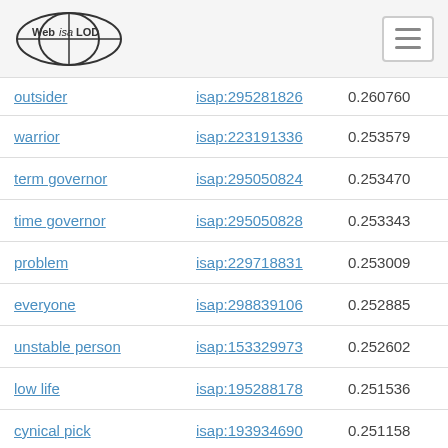Web isa LOD
| term | isap id | score |
| --- | --- | --- |
| outsider | isap:295281826 | 0.260760 |
| warrior | isap:223191336 | 0.253579 |
| term governor | isap:295050824 | 0.253470 |
| time governor | isap:295050828 | 0.253343 |
| problem | isap:229718831 | 0.253009 |
| everyone | isap:298839106 | 0.252885 |
| unstable person | isap:153329973 | 0.252602 |
| low life | isap:195288178 | 0.251536 |
| cynical pick | isap:193934690 | 0.251158 |
| hot topic | isap:370608486 | 0.249891 |
| black woman | isap:371337324 | 0.249137 |